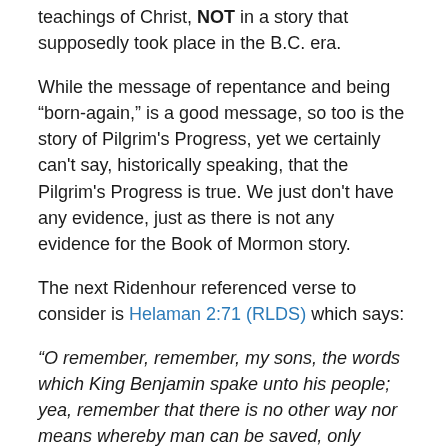teachings of Christ, NOT in a story that supposedly took place in the B.C. era.
While the message of repentance and being “born-again,” is a good message, so too is the story of Pilgrim's Progress, yet we certainly can't say, historically speaking, that the Pilgrim's Progress is true. We just don't have any evidence, just as there is not any evidence for the Book of Mormon story.
The next Ridenhour referenced verse to consider is Helaman 2:71 (RLDS) which says:
“O remember, remember, my sons, the words which King Benjamin spake unto his people; yea, remember that there is no other way nor means whereby man can be saved, only through the atoning blood of Jesus Christ, who shall come; yea, remember that he cometh to redeem the